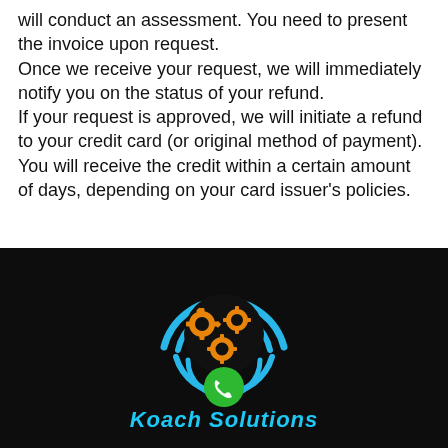will conduct an assessment. You need to present the invoice upon request.
Once we receive your request, we will immediately notify you on the status of your refund.
If your request is approved, we will initiate a refund to your credit card (or original method of payment).
You will receive the credit within a certain amount of days, depending on your card issuer's policies.
[Figure (logo): Koach Solutions logo on dark background: blue circular arc/wifi-signal shape with orange gear icons inside, and a green phone call button below. Partial brand name 'Koach Solutions' visible in blue italic text at bottom.]